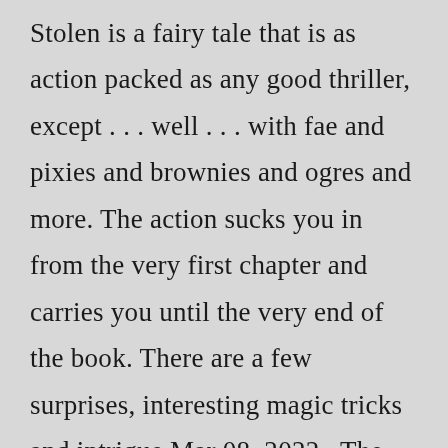Stolen is a fairy tale that is as action packed as any good thriller, except . . . well . . . with fae and pixies and brownies and ogres and more. The action sucks you in from the very first chapter and carries you until the very end of the book. There are a few surprises, interesting magic tricks and intrigue.Mar 08, 2022 · The thieves were caught on security footage arriving in what police believe was a stolen SUV just after 2 a.m.